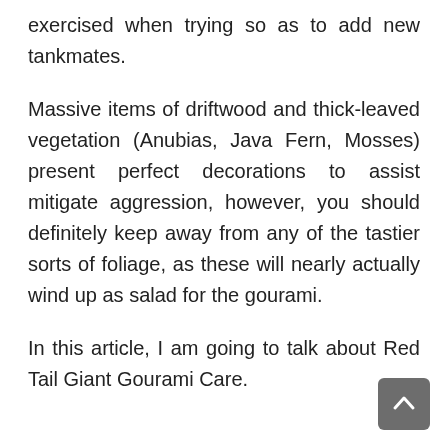exercised when trying so as to add new tankmates.
Massive items of driftwood and thick-leaved vegetation (Anubias, Java Fern, Mosses) present perfect decorations to assist mitigate aggression, however, you should definitely keep away from any of the tastier sorts of foliage, as these will nearly actually wind up as salad for the gourami.
In this article, I am going to talk about Red Tail Giant Gourami Care.